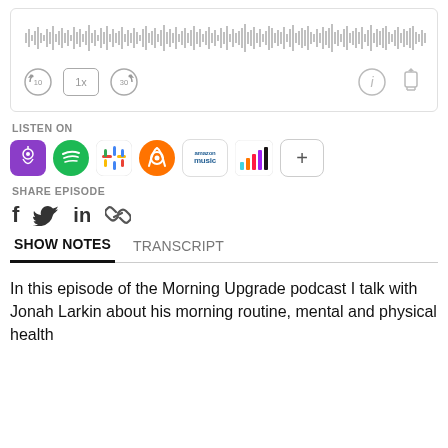[Figure (screenshot): Audio player widget with waveform and playback controls (rewind 10s, speed 1x, forward 30s, info, share)]
LISTEN ON
[Figure (infographic): Podcast platform icons: Apple Podcasts, Spotify, Google Podcasts, Overcast, Amazon Music, Deezer, and a + more button]
SHARE EPISODE
[Figure (infographic): Social share icons: Facebook (f), Twitter (bird), LinkedIn (in), and a link/chain icon]
SHOW NOTES    TRANSCRIPT
In this episode of the Morning Upgrade podcast I talk with Jonah Larkin about his morning routine, mental and physical health